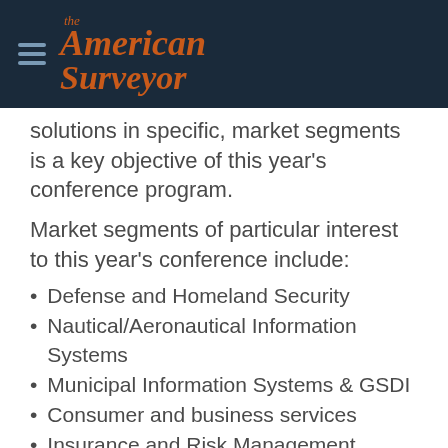The American Surveyor
solutions in specific, market segments is a key objective of this year's conference program.
Market segments of particular interest to this year's conference include:
Defense and Homeland Security
Nautical/Aeronautical Information Systems
Municipal Information Systems & GSDI
Consumer and business services
Insurance and Risk Management
Building Information Model (BIM)
Property and Asset Management
Transportation and Logistics
Emergency Response and Disaster Management